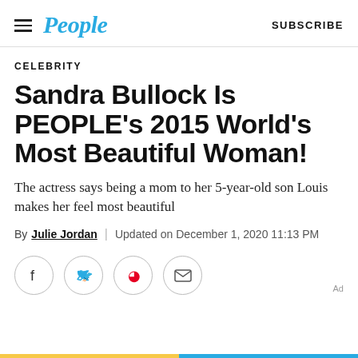People | SUBSCRIBE
CELEBRITY
Sandra Bullock Is PEOPLE's 2015 World's Most Beautiful Woman!
The actress says being a mom to her 5-year-old son Louis makes her feel most beautiful
By Julie Jordan | Updated on December 1, 2020 11:13 PM
[Figure (infographic): Social share icons: Facebook, Twitter, Pinterest, Email]